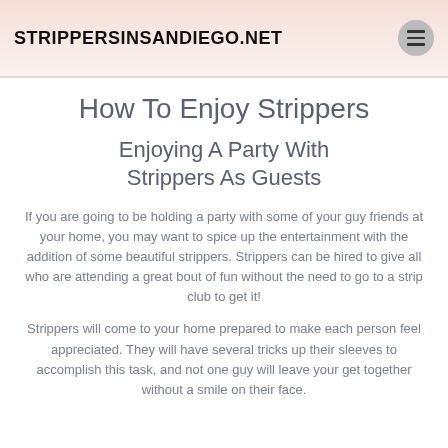STRIPPERSINSANDIEGO.NET
How To Enjoy Strippers
Enjoying A Party With Strippers As Guests
If you are going to be holding a party with some of your guy friends at your home, you may want to spice up the entertainment with the addition of some beautiful strippers. Strippers can be hired to give all who are attending a great bout of fun without the need to go to a strip club to get it!
Strippers will come to your home prepared to make each person feel appreciated. They will have several tricks up their sleeves to accomplish this task, and not one guy will leave your get together without a smile on their face.